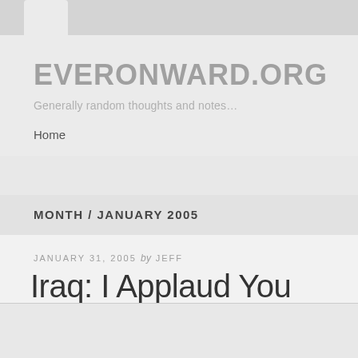EVERONWARD.ORG
Generally random thoughts and notes…
Home
MONTH / JANUARY 2005
JANUARY 31, 2005 by JEFF
Iraq: I Applaud You